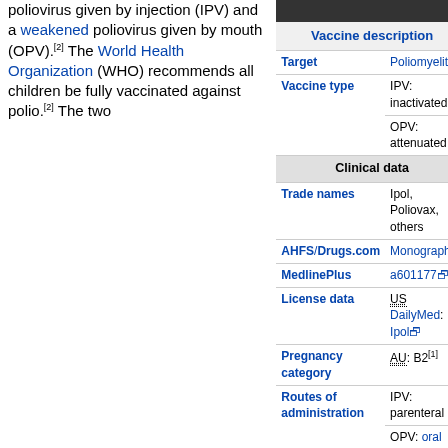poliovirus given by injection (IPV) and a weakened poliovirus given by mouth (OPV).[2] The World Health Organization (WHO) recommends all children be fully vaccinated against polio.[2] The two
| Field | Value |
| --- | --- |
| Vaccine description |  |
| Target | Poliomyelitis |
| Vaccine type | IPV: inactivated
OPV: attenuated |
| Clinical data |  |
| Trade names | Ipol, Poliovax, others |
| AHFS/Drugs.com | Monograph |
| MedlinePlus | a601177 |
| License data | US DailyMed: Ipol |
| Pregnancy category | AU: B2[1] |
| Routes of administration | IPV: parenteral
OPV: oral |
| ATC code | J07BF01 (WHO) J07BF02 (WHO) J07BF03 (WHO) J07BF04 (WHO) |
| Legal status |  |
| Legal status | US: Rx-only |
| Identifiers |  |
| CAS Number | 1008119-78-5 |
| DrugBank | DB10796
DB10797 |